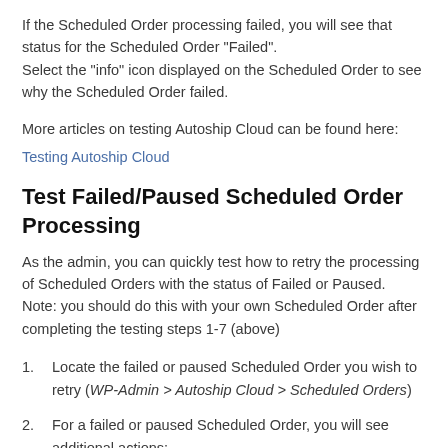If the Scheduled Order processing failed, you will see that status for the Scheduled Order "Failed". Select the "info" icon displayed on the Scheduled Order to see why the Scheduled Order failed.
More articles on testing Autoship Cloud can be found here:
Testing Autoship Cloud
Test Failed/Paused Scheduled Order Processing
As the admin, you can quickly test how to retry the processing of Scheduled Orders with the status of Failed or Paused. Note: you should do this with your own Scheduled Order after completing the testing steps 1-7 (above)
Locate the failed or paused Scheduled Order you wish to retry (WP-Admin > Autoship Cloud > Scheduled Orders)
For a failed or paused Scheduled Order, you will see additional actions:
a.  Activate: this action will set the Scheduled Order status